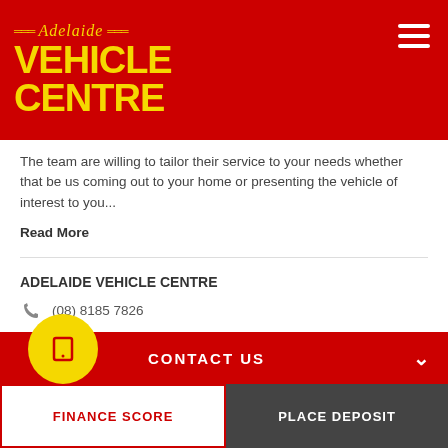[Figure (logo): Adelaide Vehicle Centre logo — yellow text on red background with hamburger menu icon]
The team are willing to tailor their service to your needs whether that be us coming out to your home or presenting the vehicle of interest to you...
Read More
ADELAIDE VEHICLE CENTRE
(08) 8185 7826
Dealer Licence No. 246549
SHARE
PRICE PER WEEK DISCLAIMER
CONTACT US
FINANCE SCORE
PLACE DEPOSIT